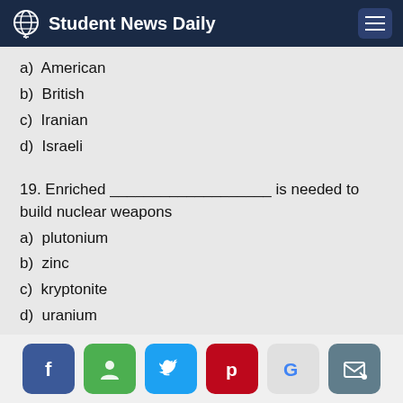Student News Daily
a)  American
b)  British
c)  Iranian
d)  Israeli
19. Enriched ___________________ is needed to build nuclear weapons
a)  plutonium
b)  zinc
c)  kryptonite
d)  uranium
20. In a report that shook major league baseball from a U.S. Senator G...